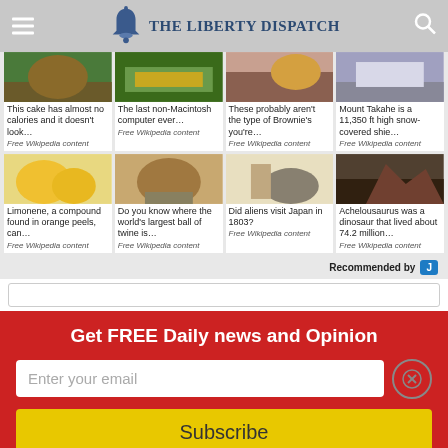The Liberty Dispatch
[Figure (photo): This cake has almost no calories and it doesn't look...]
This cake has almost no calories and it doesn't look... Free Wikipedia content
[Figure (photo): The last non-Macintosh computer ever...]
The last non-Macintosh computer ever... Free Wikipedia content
[Figure (photo): These probably aren't the type of Brownie's you're...]
These probably aren't the type of Brownie's you're... Free Wikipedia content
[Figure (photo): Mount Takahe is a 11,350 ft high snow-covered shie...]
Mount Takahe is a 11,350 ft high snow-covered shie... Free Wikipedia content
[Figure (photo): Limonene, a compound found in orange peels, can...]
Limonene, a compound found in orange peels, can... Free Wikipedia content
[Figure (photo): Do you know where the world's largest ball of twine is...]
Do you know where the world's largest ball of twine is... Free Wikipedia content
[Figure (photo): Did aliens visit Japan in 1803?]
Did aliens visit Japan in 1803? Free Wikipedia content
[Figure (photo): Achelousaurus was a dinosaur that lived about 74.2 million...]
Achelousaurus was a dinosaur that lived about 74.2 million... Free Wikipedia content
Recommended by
Get FREE Daily news and Opinion
Enter your email
Subscribe